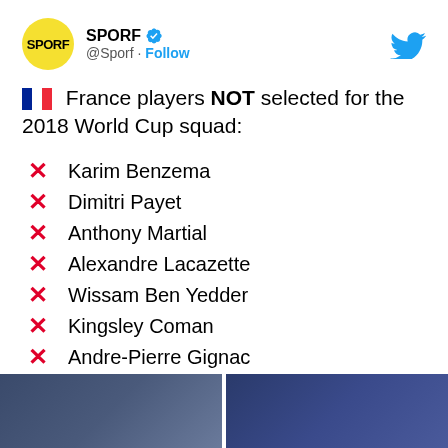SPORF @Sporf · Follow
🇫🇷 France players NOT selected for the 2018 World Cup squad:
❌ Karim Benzema
❌ Dimitri Payet
❌ Anthony Martial
❌ Alexandre Lacazette
❌ Wissam Ben Yedder
❌ Kingsley Coman
❌ Andre-Pierre Gignac
❌ Adrien Rabiot
❌ Aymeric Laporte
😳 Unbelievable squad depth.
[Figure (photo): Two player photos side by side at the bottom of the tweet]